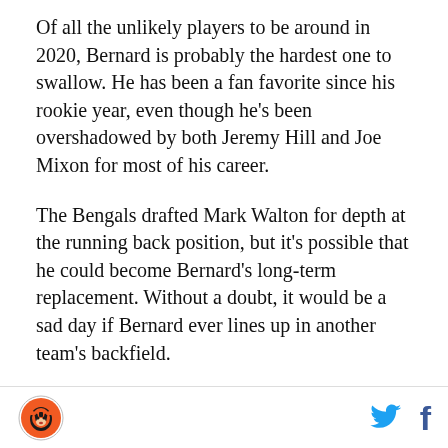Of all the unlikely players to be around in 2020, Bernard is probably the hardest one to swallow. He has been a fan favorite since his rookie year, even though he's been overshadowed by both Jeremy Hill and Joe Mixon for most of his career.
The Bengals drafted Mark Walton for depth at the running back position, but it's possible that he could become Bernard's long-term replacement. Without a doubt, it would be a sad day if Bernard ever lines up in another team's backfield.
Burfict isn't too surprising to be listed along with Bernard. He is among a group of aging vets who hasn't produced up to their standards this season, and he is
[Bengals logo] [Twitter icon] [Facebook icon]